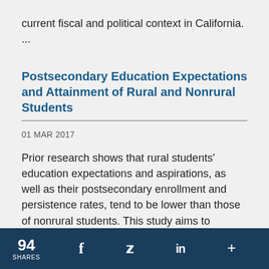current fiscal and political context in California. ...
Postsecondary Education Expectations and Attainment of Rural and Nonrural Students
01 MAR 2017
Prior research shows that rural students' education expectations and aspirations, as well as their postsecondary enrollment and persistence rates, tend to be lower than those of nonrural students. This study aims to support policymakers and other stakeholders in the Regional Educational Laboratory (REL) Midwest states by informing policy recommendations for ...
94 SHARES  f  Twitter  in  +